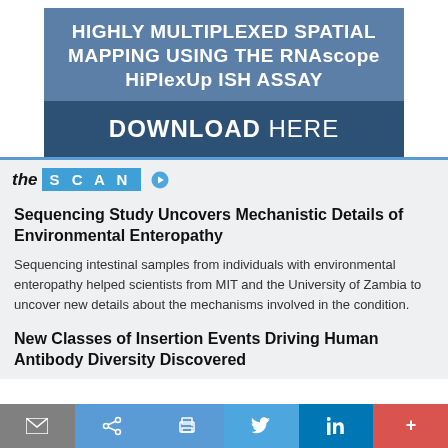[Figure (infographic): Banner advertisement for 'Highly Multiplexed Spatial Mapping Using the RNAscope HiPlexUp ISH Assay' with a 'Download Here' call to action. Blue gradient background with white text.]
the SCAN
Sequencing Study Uncovers Mechanistic Details of Environmental Enteropathy
Sequencing intestinal samples from individuals with environmental enteropathy helped scientists from MIT and the University of Zambia to uncover new details about the mechanisms involved in the condition.
New Classes of Insertion Events Driving Human Antibody Diversity Discovered
[Figure (infographic): Footer toolbar with email, share, print, Twitter, LinkedIn, and more (+) buttons in grey, blue, and red.]